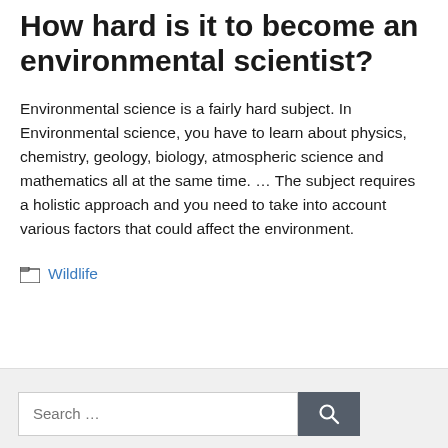How hard is it to become an environmental scientist?
Environmental science is a fairly hard subject. In Environmental science, you have to learn about physics, chemistry, geology, biology, atmospheric science and mathematics all at the same time. … The subject requires a holistic approach and you need to take into account various factors that could affect the environment.
Categories: Wildlife
[Figure (screenshot): Website footer area with a search bar containing placeholder text 'Search …' and a dark grey search button with a magnifying glass icon]